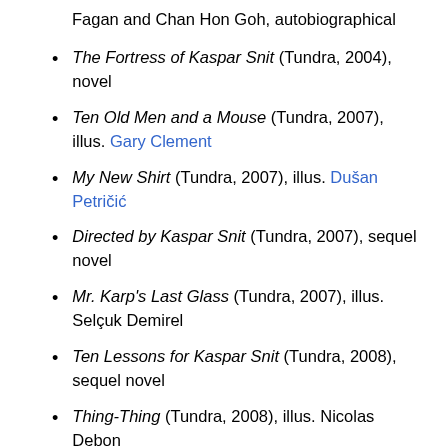Fagan and Chan Hon Goh, autobiographical
The Fortress of Kaspar Snit (Tundra, 2004), novel
Ten Old Men and a Mouse (Tundra, 2007), illus. Gary Clement
My New Shirt (Tundra, 2007), illus. Dušan Petričić
Directed by Kaspar Snit (Tundra, 2007), sequel novel
Mr. Karp's Last Glass (Tundra, 2007), illus. Selçuk Demirel
Ten Lessons for Kaspar Snit (Tundra, 2008), sequel novel
Thing-Thing (Tundra, 2008), illus. Nicolas Debon
Jacob Two-Two on the High Seas (Tundra, 2009), illus. Dušan Petričić
Book of Big Brothers (Groundwood Books, 2010), illus.